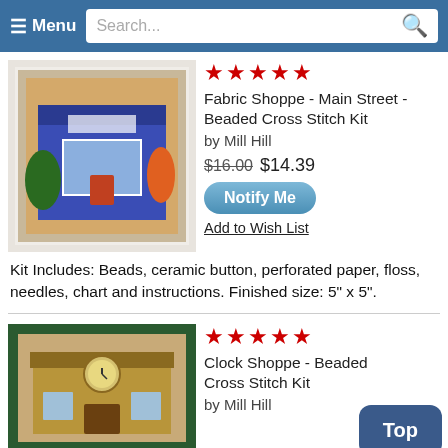☰ Menu  Search...
[Figure (photo): Cross stitch kit product image showing a fabric shoppe storefront in a white frame]
★★★★★
Fabric Shoppe - Main Street - Beaded Cross Stitch Kit
by Mill Hill
$16.00 $14.39
Notify Me
Add to Wish List
Kit Includes: Beads, ceramic button, perforated paper, floss, needles, chart and instructions. Finished size: 5" x 5".
[Figure (photo): Cross stitch kit product image showing a clock shoppe storefront in a dark green frame]
★★★★★
Clock Shoppe - Beaded Cross Stitch Kit
by Mill Hill
Top